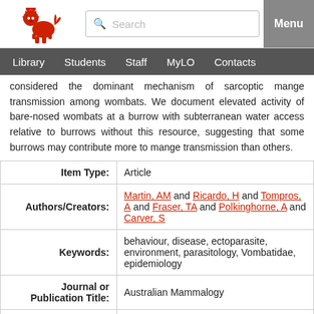[Figure (logo): University red lion logo]
Search | Menu | Library | Students | Staff | MyLO | Contacts
considered the dominant mechanism of sarcoptic mange transmission among wombats. We document elevated activity of bare-nosed wombats at a burrow with subterranean water access relative to burrows without this resource, suggesting that some burrows may contribute more to mange transmission than others.
| Field | Value |
| --- | --- |
| Item Type: | Article |
| Authors/Creators: | Martin, AM and Ricardo, H and Tompros, A and Fraser, TA and Polkinghorne, A and Carver, S |
| Keywords: | behaviour, disease, ectoparasite, environment, parasitology, Vombatidae, epidemiology |
| Journal or Publication Title: | Australian Mammalogy |
| Publisher: | C S I R O Publishing |
| ISSN: | 0310-0049 |
| DOI / ID Number: | 10.1071/AM18013 |